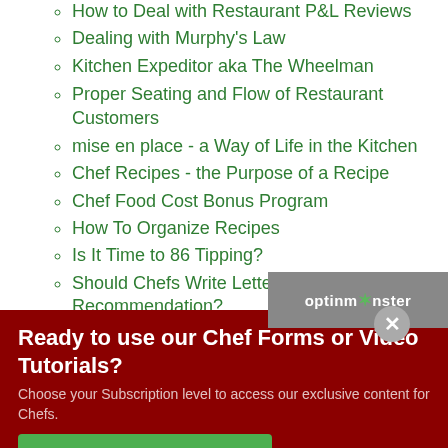How to Deal with Restaurant P&L Reviews
Dealing with Murphy's Law
Kitchen Expeditor aka The Wheelman
Proper Seating and Flow of Restaurant Customers
mise en place - a Way of Life in the Kitchen
Chef Recipes - the Purpose of a Recipe
Chef Food Cost Bonus Program
How To Organize Recipes
Is It Time to 86 Tipping?
Should Chefs Write Letters of Recommendation?
Fond - Tidbits for Chefs
Ready to use our Chef Forms or Video Tutorials?
Choose your Subscription level to access our exclusive content for Chefs.
YES, TELL ME MORE!